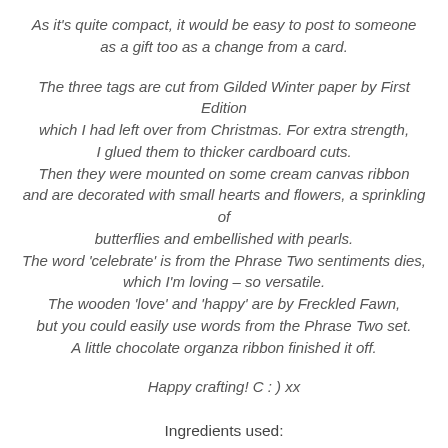As it's quite compact, it would be easy to post to someone as a gift too as a change from a card.
The three tags are cut from Gilded Winter paper by First Edition which I had left over from Christmas. For extra strength, I glued them to thicker cardboard cuts. Then they were mounted on some cream canvas ribbon and are decorated with small hearts and flowers, a sprinkling of butterflies and embellished with pearls. The word ‘celebrate’ is from the Phrase Two sentiments dies, which I’m loving – so versatile. The wooden ‘love’ and ‘happy’ are by Freckled Fawn, but you could easily use words from the Phrase Two set. A little chocolate organza ribbon finished it off.
Happy crafting! C : ) xx
Ingredients used: